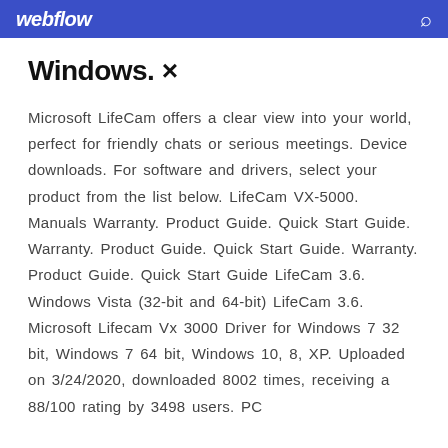webflow
Windows. ×
Microsoft LifeCam offers a clear view into your world, perfect for friendly chats or serious meetings. Device downloads. For software and drivers, select your product from the list below. LifeCam VX-5000. Manuals Warranty. Product Guide. Quick Start Guide. Warranty. Product Guide. Quick Start Guide. Warranty. Product Guide. Quick Start Guide LifeCam 3.6. Windows Vista (32-bit and 64-bit) LifeCam 3.6. Microsoft Lifecam Vx 3000 Driver for Windows 7 32 bit, Windows 7 64 bit, Windows 10, 8, XP. Uploaded on 3/24/2020, downloaded 8002 times, receiving a 88/100 rating by 3498 users. PC